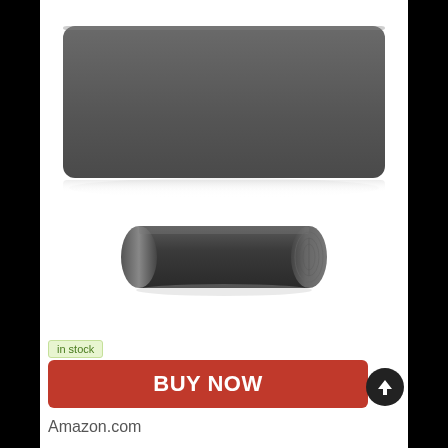[Figure (photo): Product photo showing a large flat dark gray desk mat/mouse pad and the same mat rolled up below it, on a white background with a subtle reflection under the flat mat.]
in stock
BUY NOW
Amazon.com